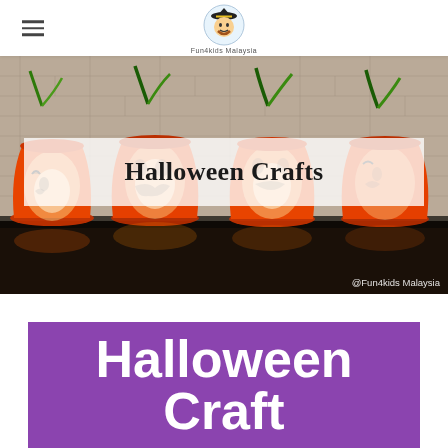Fun4kids Malaysia logo and navigation
[Figure (photo): Four orange plastic cups decorated as jack-o-lanterns with green pipe cleaner stems, lit from inside, arranged on a dark surface against a brick wall. A semi-transparent white banner overlays the center with the text 'Halloween Crafts'. Watermark '@Fun4kids Malaysia' at bottom right.]
Halloween Craft